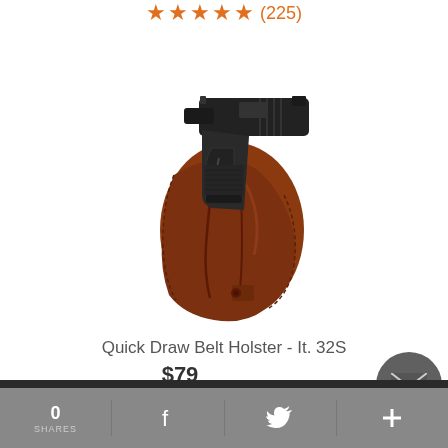[Figure (other): Star rating showing 4.5 out of 5 stars (orange stars) with review count (225) in orange text]
[Figure (photo): Product photo of a brown leather Quick Draw Belt Holster with a black handgun inserted into it]
Quick Draw Belt Holster - It. 32S
$79
[Figure (other): Social share bar at bottom with 0 SHARES count, Facebook icon, Twitter bird icon, and plus icon. Dark rounded email/message button on right side.]